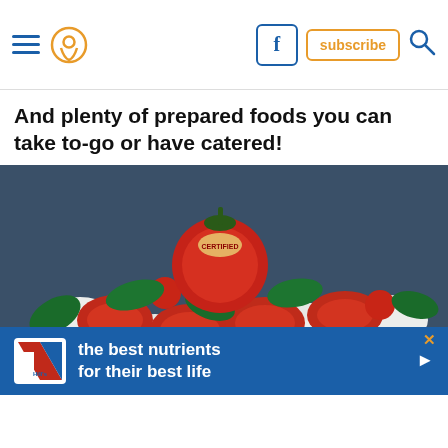Navigation header with hamburger menu, location pin icon, Facebook button, subscribe button, and search icon
And plenty of prepared foods you can take to-go or have catered!
[Figure (photo): Caprese salad platter with alternating slices of tomatoes and mozzarella, fresh basil leaves, cherry tomatoes, and green pepper rings arranged on a round tray. A whole tomato with a brand label sits at center top.]
[Figure (infographic): Hill's Pet Nutrition advertisement banner: blue background with Hill's logo on white square, text 'the best nutrients for their best life' in white bold text, play button, and close X button in orange.]